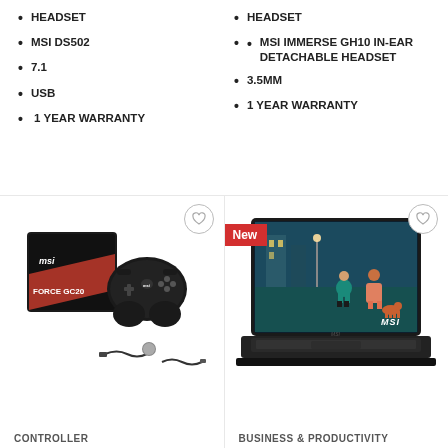HEADSET
MSI DS502
7.1
USB
1 YEAR WARRANTY
HEADSET
MSI IMMERSE GH10 IN-EAR DETACHABLE HEADSET
3.5MM
1 YEAR WARRANTY
[Figure (photo): MSI Force GC20 gaming controller with box, cable and coin]
CONTROLLER
[Figure (photo): MSI laptop showing animated characters on screen, with New badge]
BUSINESS & PRODUCTIVITY